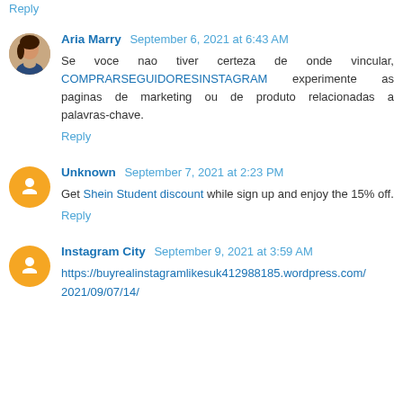Reply
Aria Marry  September 6, 2021 at 6:43 AM
Se voce nao tiver certeza de onde vincular, COMPRARSEGUIDORESINSTAGRAM experimente as paginas de marketing ou de produto relacionadas a palavras-chave.
Reply
Unknown  September 7, 2021 at 2:23 PM
Get Shein Student discount while sign up and enjoy the 15% off.
Reply
Instagram City  September 9, 2021 at 3:59 AM
https://buyrealinstagramlikesuk412988185.wordpress.com/2021/09/07/14/